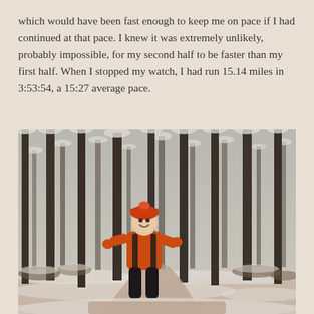which would have been fast enough to keep me on pace if I had continued at that pace. I knew it was extremely unlikely, probably impossible, for my second half to be faster than my first half. When I stopped my watch, I had run 15.14 miles in 3:53:54, a 15:27 average pace.
[Figure (photo): A person wearing an orange jacket and orange hat running and smiling on a snowy forest trail. The trees are tall and bare with snow on the branches. The path is covered in snow with some dirt showing. The photo is in a slightly desaturated, warm-toned color style.]